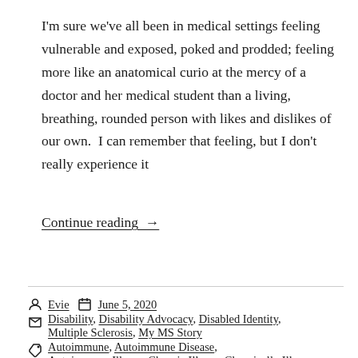I'm sure we've all been in medical settings feeling vulnerable and exposed, poked and prodded; feeling more like an anatomical curio at the mercy of a doctor and her medical student than a living, breathing, rounded person with likes and dislikes of our own.  I can remember that feeling, but I don't really experience it
Continue reading →
Evie   June 5, 2020
Disability, Disability Advocacy, Disabled Identity, Multiple Sclerosis, My MS Story
Autoimmune, Autoimmune Disease, Autoimmune Illness, Chronic Illness, Chronically Ill,